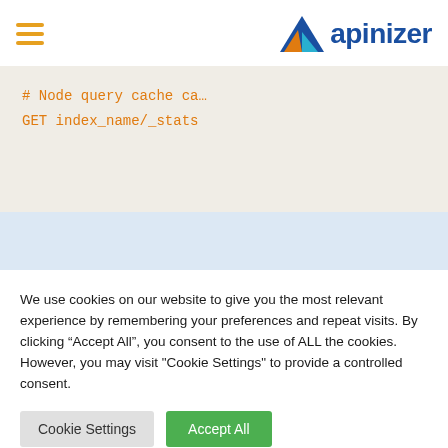apinizer
[Figure (screenshot): Code snippet showing: # Node query cache ca
GET index_name/_stats]
We use cookies on our website to give you the most relevant experience by remembering your preferences and repeat visits. By clicking “Accept All”, you consent to the use of ALL the cookies. However, you may visit "Cookie Settings" to provide a controlled consent.
Cookie Settings | Accept All